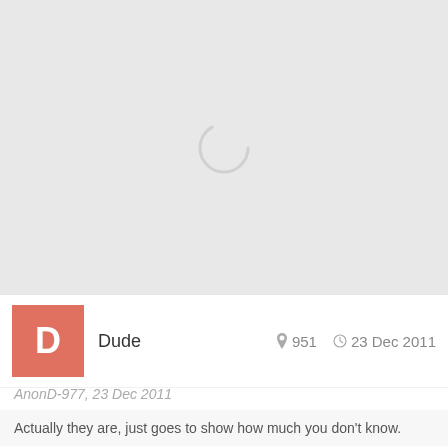[Figure (other): Loading spinner / placeholder image area with light gray background and a circular spinner icon in the center]
Dude   951   23 Dec 2011
AnonD-977, 23 Dec 2011
Actually they are, just goes to show how much you don't know.